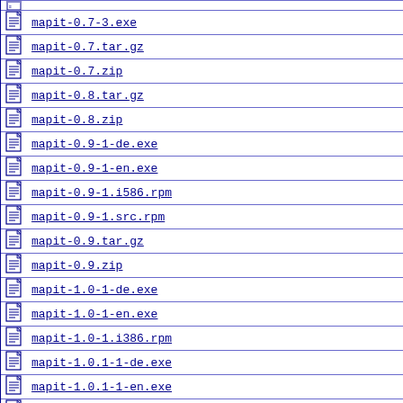mapit-0.7-3.exe
mapit-0.7.tar.gz
mapit-0.7.zip
mapit-0.8.tar.gz
mapit-0.8.zip
mapit-0.9-1-de.exe
mapit-0.9-1-en.exe
mapit-0.9-1.i586.rpm
mapit-0.9-1.src.rpm
mapit-0.9.tar.gz
mapit-0.9.zip
mapit-1.0-1-de.exe
mapit-1.0-1-en.exe
mapit-1.0-1.i386.rpm
mapit-1.0.1-1-de.exe
mapit-1.0.1-1-en.exe
mapit-1.0.1-1.i386.rpm
mapit-1.0.1-1.src.rpm